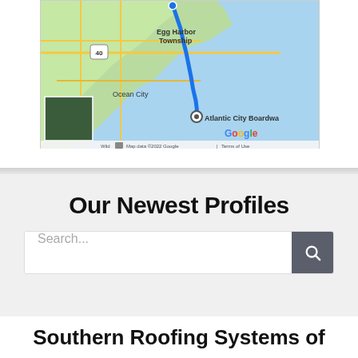[Figure (map): Google Maps screenshot showing a route from Egg Harbor Township to Atlantic City Boardwalk area, with Ocean City visible. Shows route 40. Map data ©2022 Google. Terms of Use shown at bottom.]
Our Newest Profiles
Search...
Southern Roofing Systems of